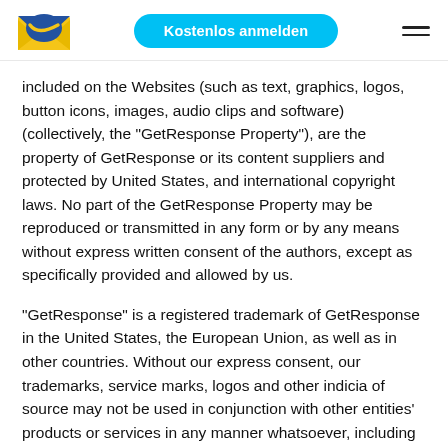Kostenlos anmelden
included on the Websites (such as text, graphics, logos, button icons, images, audio clips and software) (collectively, the “GetResponse Property”), are the property of GetResponse or its content suppliers and protected by United States, and international copyright laws. No part of the GetResponse Property may be reproduced or transmitted in any form or by any means without express written consent of the authors, except as specifically provided and allowed by us.
“GetResponse” is a registered trademark of GetResponse in the United States, the European Union, as well as in other countries. Without our express consent, our trademarks, service marks, logos and other indicia of source may not be used in conjunction with other entities’ products or services in any manner whatsoever, including but not limited to in any way that may cause confusion among customers and